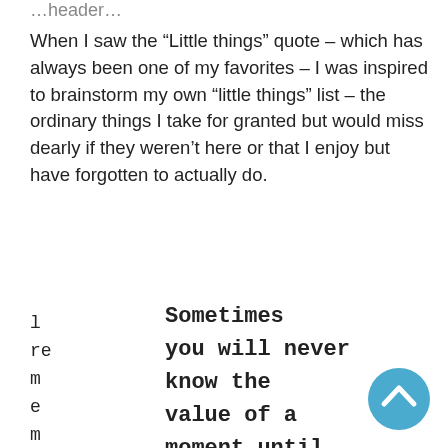…header…
When I saw the “Little things” quote – which has always been one of my favorites – I was inspired to brainstorm my own “little things” list – the ordinary things I take for granted but would miss dearly if they weren’t here or that I enjoy but have forgotten to actually do.
l
re
m
e
m
be
r
re
Sometimes you will never know the value of a moment until it becomes a